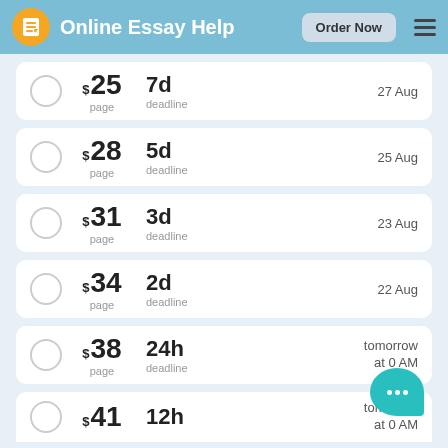Online Essay Help — Order Now
$25 / page — 7d deadline — 27 Aug
$28 / page — 5d deadline — 25 Aug
$31 / page — 3d deadline — 23 Aug
$34 / page — 2d deadline — 22 Aug
$38 / page — 24h deadline — tomorrow at 0 AM
$41 / page — 12h deadline — tomorrow at 0 AM